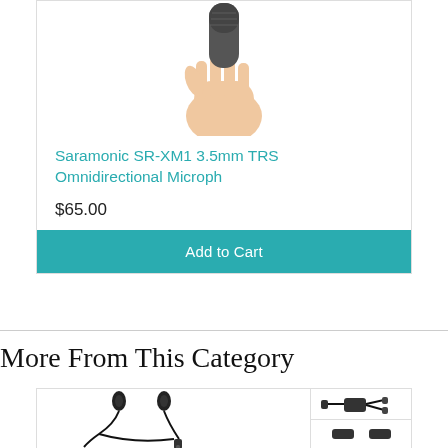[Figure (photo): Hand holding a microphone, showing a dark/grey microphone in a hand against white background]
Saramonic SR-XM1 3.5mm TRS Omnidirectional Microph
$65.00
Add to Cart
More From This Category
[Figure (photo): Two lavalier microphones with cables and a splitter adapter, shown with thumbnail images of accessories on the right side]